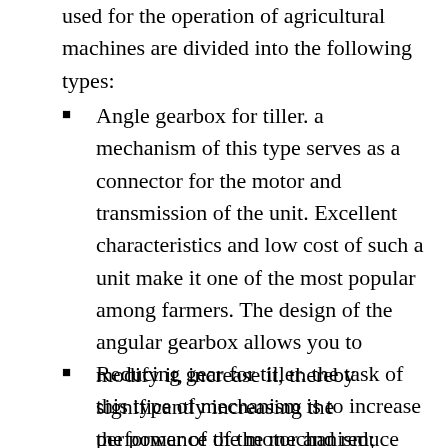used for the operation of agricultural machines are divided into the following types:
Angle gearbox for tiller. a mechanism of this type serves as a connector for the motor and transmission of the unit. Excellent characteristics and low cost of such a unit make it one of the most popular among farmers. The design of the angular gearbox allows you to modify it, increase it, thereby significantly increasing the performance of the mechanism;
Reducing gear for tiller. the task of this type of mechanism is to increase the power of the motor and reduce the number of its